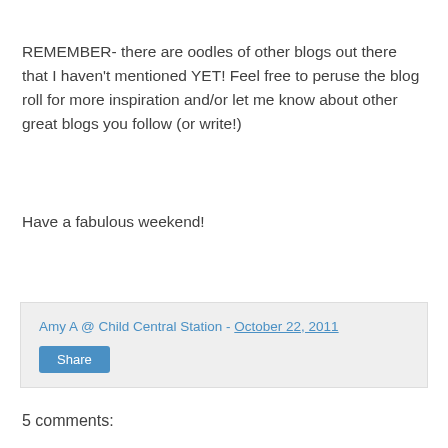REMEMBER- there are oodles of other blogs out there that I haven't mentioned YET! Feel free to peruse the blog roll for more inspiration and/or let me know about other great blogs you follow (or write!)
Have a fabulous weekend!
Amy A @ Child Central Station - October 22, 2011 | Share
5 comments: